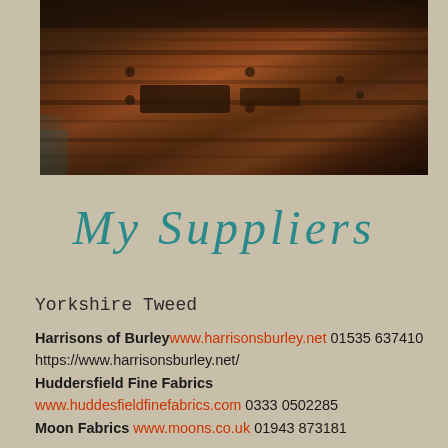[Figure (photo): Close-up photograph of wooden suitcase or trunk with metal hardware rivets, vintage warm-toned with teal accent at lower left corner]
My Suppliers
Yorkshire Tweed
Harrisons of Burley www.harrisonsburley.net 01535 637410 https://www.harrisonsburley.net/ Huddersfield Fine Fabrics www.huddesfieldfinefabrics.com 0333 0502285 Moon Fabrics www.moons.co.uk 01943 873181